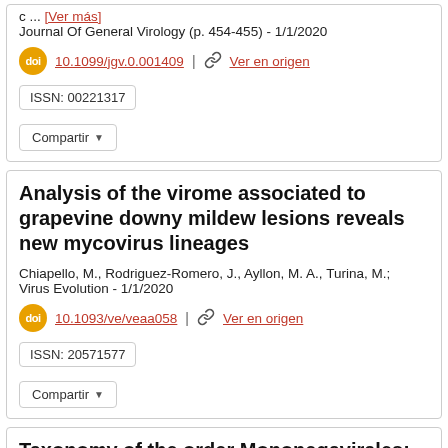c ... [Ver más]
Journal Of General Virology (p. 454-455) - 1/1/2020
10.1099/jgv.0.001409 | Ver en origen
ISSN: 00221317
Compartir
Analysis of the virome associated to grapevine downy mildew lesions reveals new mycovirus lineages
Chiapello, M., Rodriguez-Romero, J., Ayllon, M. A., Turina, M.;
Virus Evolution - 1/1/2020
10.1093/ve/veaa058 | Ver en origen
ISSN: 20571577
Compartir
Taxonomy of the order Mononegavirales: